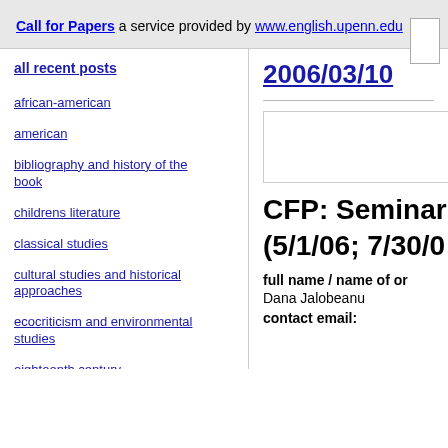Call for Papers
a service provided by www.english.upenn.edu
all recent posts
african-american
american
bibliography and history of the book
childrens literature
classical studies
cultural studies and historical approaches
ecocriticism and environmental studies
eighteenth century
2006/03/10
CFP: Seminar i
(5/1/06; 7/30/0
full name / name of or
Dana Jalobeanu
contact email: